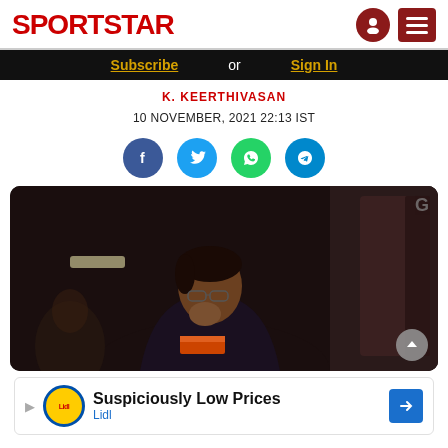SPORTSTAR
Subscribe or Sign In
K. KEERTHIVASAN
10 NOVEMBER, 2021 22:13 IST
[Figure (photo): Person in dark suit sitting and thinking with hand near mouth, dark blurred background]
Suspiciously Low Prices Lidl